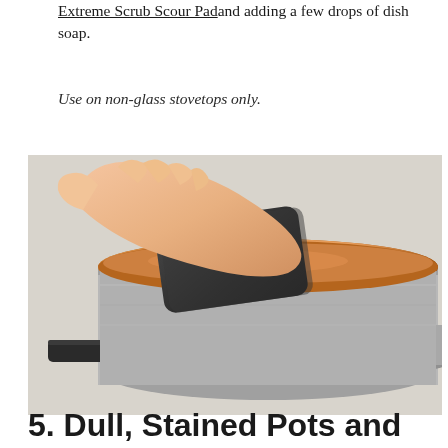Extreme Scrub Scour Pad and adding a few drops of dish soap.
Use on non-glass stovetops only.
[Figure (photo): A hand holding a dark grey/black scrub sponge pad, pressing it against the top edge of a copper and stainless steel pot or pan, scrubbing it. The background shows a light surface.]
5. Dull, Stained Pots and